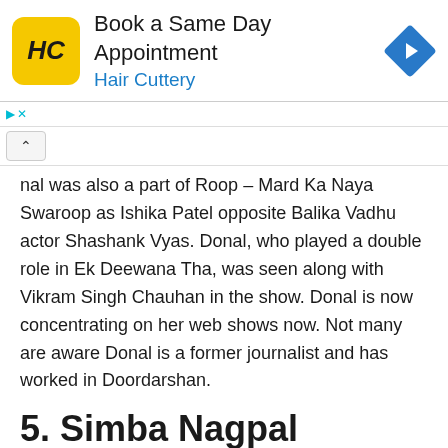[Figure (screenshot): Hair Cuttery advertisement banner with yellow HC logo, text 'Book a Same Day Appointment / Hair Cuttery', and a blue diamond direction icon.]
nal was also a part of Roop – Mard Ka Naya Swaroop as Ishika Patel opposite Balika Vadhu actor Shashank Vyas. Donal, who played a double role in Ek Deewana Tha, was seen along with Vikram Singh Chauhan in the show. Donal is now concentrating on her web shows now. Not many are aware Donal is a former journalist and has worked in Doordarshan.
5. Simba Nagpal
Shakti – Astitva Ke Ehsaas Ki, actor and Splitsvilla fame Simba Nagpal is all set to